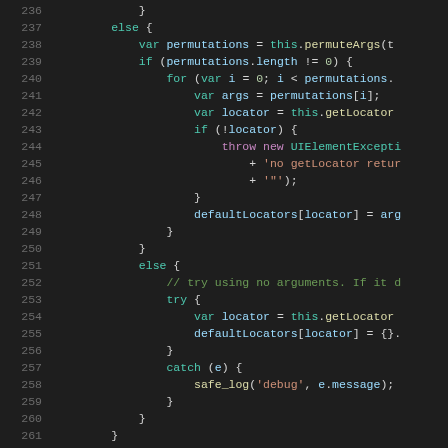[Figure (screenshot): Source code screenshot showing JavaScript code with syntax highlighting. Lines 236-265 visible, displaying code with else blocks, for loops, var declarations, try/catch blocks, and a return statement. Dark background with colored syntax highlighting.]